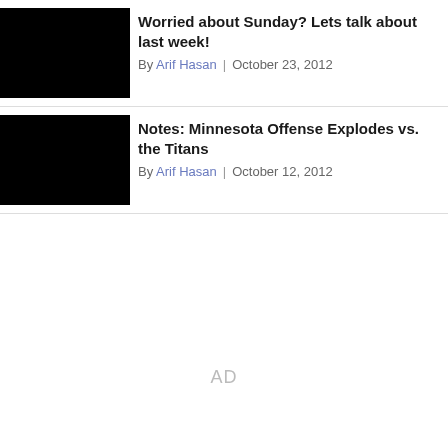Worried about Sunday? Lets talk about last week!
By Arif Hasan | October 23, 2012
Notes: Minnesota Offense Explodes vs. the Titans
By Arif Hasan | October 12, 2012
AD